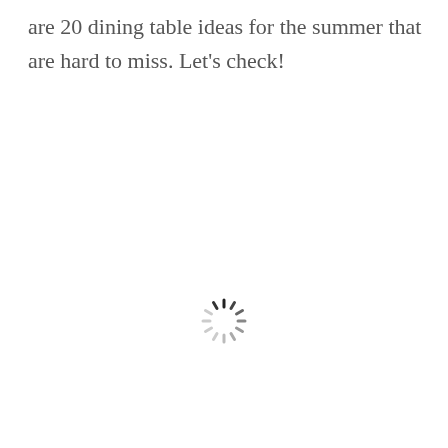are 20 dining table ideas for the summer that are hard to miss. Let's check!
[Figure (other): A loading spinner (circular progress indicator) centered on the page, with radial dashes in a clock-like arrangement, colored dark at the top and fading to light gray.]